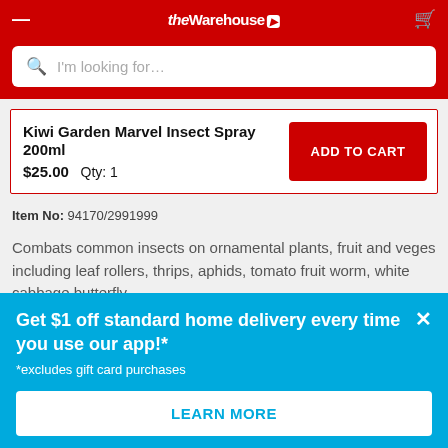the warehouse
[Figure (screenshot): Search bar with placeholder text 'I'm looking for...']
Kiwi Garden Marvel Insect Spray 200ml
$25.00  Qty: 1
Item No: 94170/2991999
Combats common insects on ornamental plants, fruit and veges including leaf rollers, thrips, aphids, tomato fruit worm, white cabbage butterfly
Get $1 off standard home delivery every time you use our app!*
*excludes gift card purchases